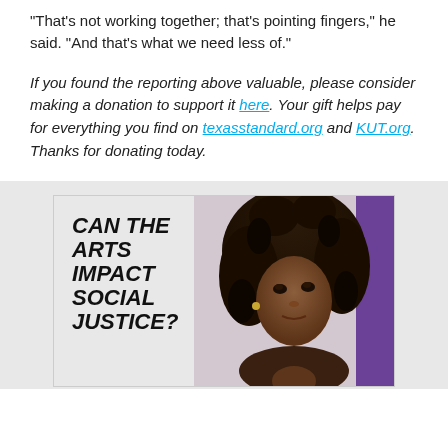“That’s not working together; that’s pointing fingers,” he said. “And that’s what we need less of.”
If you found the reporting above valuable, please consider making a donation to support it here. Your gift helps pay for everything you find on texasstandard.org and KUT.org. Thanks for donating today.
[Figure (photo): Advertisement banner with bold italic text reading 'CAN THE ARTS IMPACT SOCIAL JUSTICE?' alongside a photo of a Black woman with curly hair looking upward, and a purple vertical bar on the right side.]